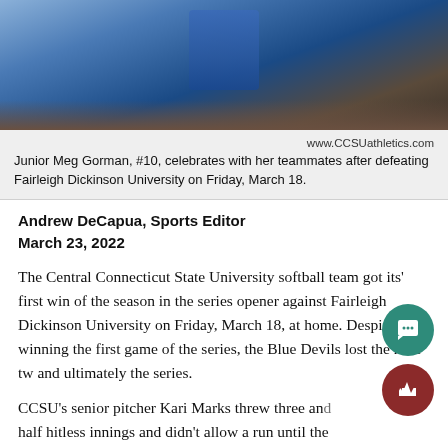[Figure (photo): Athlete in blue uniform running, photo from CCSUathletics.com]
www.CCSUathletics.com
Junior Meg Gorman, #10, celebrates with her teammates after defeating Fairleigh Dickinson University on Friday, March 18.
Andrew DeCapua, Sports Editor
March 23, 2022
The Central Connecticut State University softball team got its' first win of the season in the series opener against Fairleigh Dickinson University on Friday, March 18, at home. Despite winning the first game of the series, the Blue Devils lost the next two and ultimately the series.
CCSU's senior pitcher Kari Marks threw three and half hitless innings and didn't allow a run until the